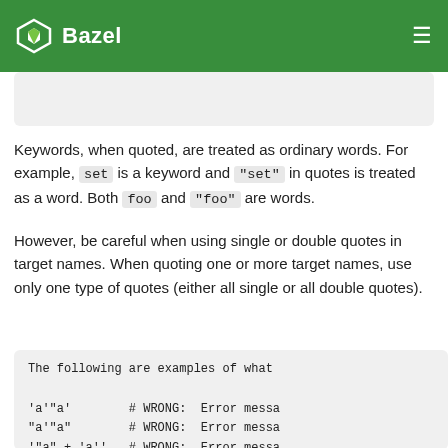Bazel
Keywords, when quoted, are treated as ordinary words. For example, set is a keyword and "set" in quotes is treated as a word. Both foo and "foo" are words.
However, be careful when using single or double quotes in target names. When quoting one or more target names, use only one type of quotes (either all single or all double quotes).
The following are examples of what
'a'"a'   # WRONG: Error messa
"a'"a"   # WRONG: Error messa
'"a" + 'a''  # WRONG: Error messa
"'a' + "a""  # WRONG: Error messa
"a'a"    # OK.
'a'"a'   # OK.